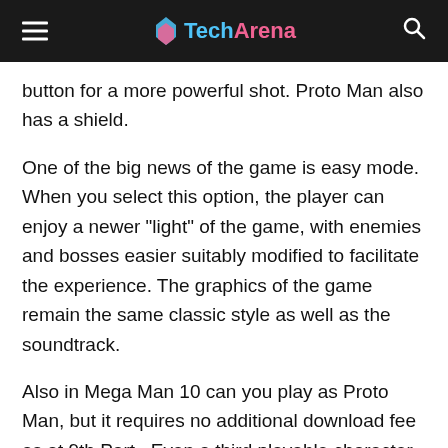TechArena
button for a more powerful shot. Proto Man also has a shield.
One of the big news of the game is easy mode. When you select this option, the player can enjoy a newer "light" of the game, with enemies and bosses easier suitably modified to facilitate the experience. The graphics of the game remain the same classic style as well as the soundtrack.
Also in Mega Man 10 can you play as Proto Man, but it requires no additional download fee as at 9th Part.  Even a third playable character is present, however, has not yet said who they are being